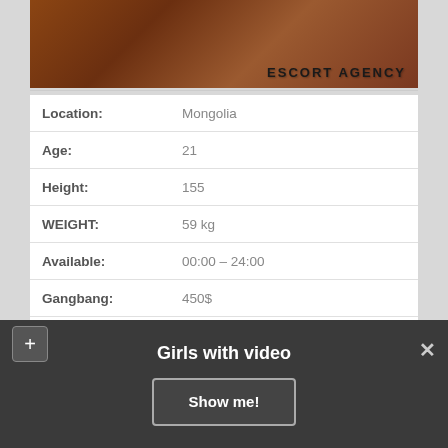[Figure (photo): Dark reddish-brown image with text overlay reading ESCORT AGENCY]
| Location: | Mongolia |
| Age: | 21 |
| Height: | 155 |
| WEIGHT: | 59 kg |
| Available: | 00:00 – 24:00 |
| Gangbang: | 450$ |
| Sex Preferences: | Swinging, Massage classic, Golden shower (in), Strap On |
| Nationality: | Spanish |
Girls with video
Show me!